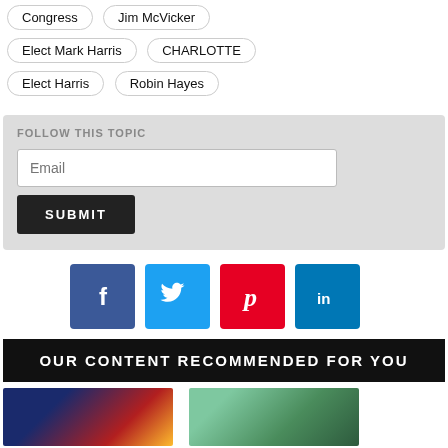Congress
Jim McVicker
Elect Mark Harris
CHARLOTTE
Elect Harris
Robin Hayes
FOLLOW THIS TOPIC
Email
SUBMIT
[Figure (infographic): Social media share icons: Facebook (blue), Twitter (light blue), Pinterest (red), LinkedIn (dark blue)]
OUR CONTENT RECOMMENDED FOR YOU
[Figure (photo): Thumbnail image showing police lights at night scene]
[Figure (photo): Thumbnail image showing a man outdoors]